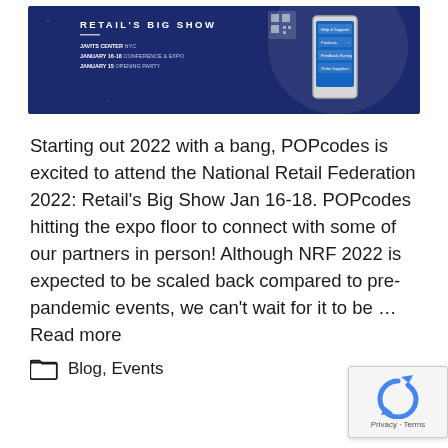[Figure (illustration): Dark navy blue banner for NRF Retail's Big Show event. Text reads: RETAIL'S BIG SHOW, JAVITS CENTER NYC, JANUARY 16-18 CONFERENCE & EXPO, JANUARY 15 OPENING PARTY. A smartphone mockup is shown on the right side.]
Starting out 2022 with a bang, POPcodes is excited to attend the National Retail Federation 2022: Retail's Big Show Jan 16-18. POPcodes hitting the expo floor to connect with some of our partners in person! Although NRF 2022 is expected to be scaled back compared to pre-pandemic events, we can't wait for it to be … Read more
Blog, Events